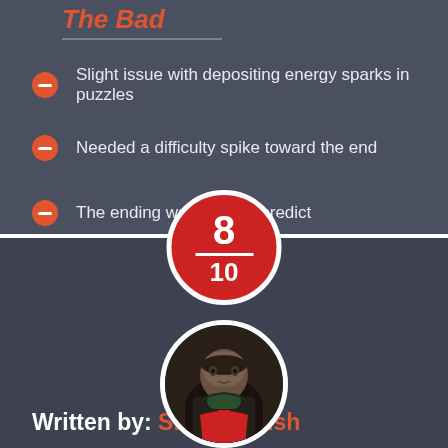The Bad
Slight issue with depositing energy sparks in puzzles
Needed a difficulty spike toward the end
The ending was easy to predict
[Figure (infographic): Score badge circle showing 8/10 in red with white border]
[Figure (photo): Circular avatar photo of Shane Walsh wearing a black and red jersey]
Written by: Shane Walsh